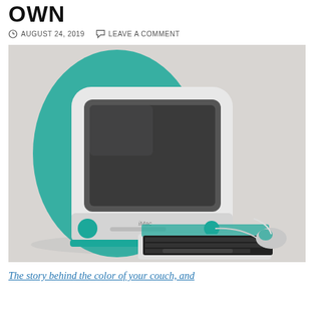OWN
AUGUST 24, 2019   LEAVE A COMMENT
[Figure (photo): A first-generation iMac G3 in Bondi Blue color, shown with matching keyboard and mouse on a white surface. The translucent teal and white CRT all-in-one computer is photographed at a slight angle.]
The story behind the color of your couch, and everything else